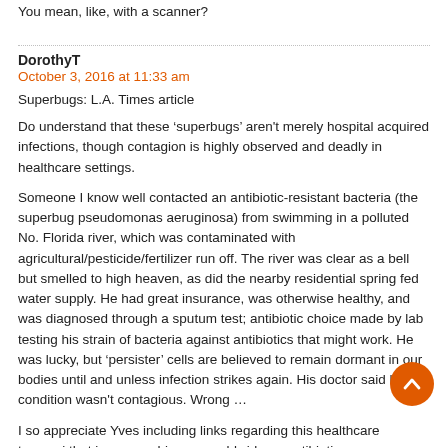You mean, like, with a scanner?
DorothyT
October 3, 2016 at 11:33 am
Superbugs: L.A. Times article
Do understand that these ‘superbugs’ aren't merely hospital acquired infections, though contagion is highly observed and deadly in healthcare settings.
Someone I know well contacted an antibiotic-resistant bacteria (the superbug pseudomonas aeruginosa) from swimming in a polluted No. Florida river, which was contaminated with agricultural/pesticide/fertilizer run off. The river was clear as a bell but smelled to high heaven, as did the nearby residential spring fed water supply. He had great insurance, was otherwise healthy, and was diagnosed through a sputum test; antibiotic choice made by lab testing his strain of bacteria against antibiotics that might work. He was lucky, but ‘persister’ cells are believed to remain dormant in our bodies until and unless infection strikes again. His doctor said his condition wasn't contagious. Wrong …
I so appreciate Yves including links regarding this healthcare tsumani that is approaching us worldwide as antibiotics